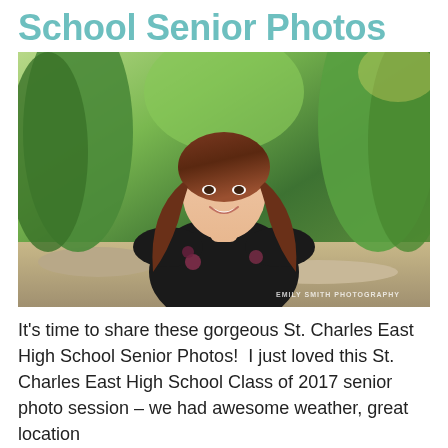School Senior Photos
[Figure (photo): A young woman with long auburn hair wearing a black floral top, smiling outdoors among green foliage in bright sunlight. Watermark reads 'EMILY SMITH PHOTOGRAPHY'.]
It's time to share these gorgeous St. Charles East High School Senior Photos! I just loved this St. Charles East High School Class of 2017 senior photo session – we had awesome weather, great location